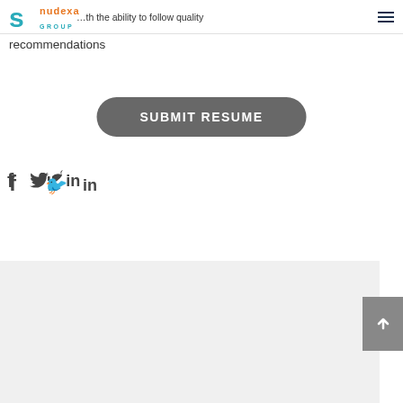Nudexa Group
recommendations
SUBMIT RESUME
[Figure (illustration): Social media icons: Facebook (f), Twitter (bird), LinkedIn (in)]
[Figure (photo): Circular profile photo of a woman with brown hair wearing a red top, smiling, outdoors with orange flowers in background]